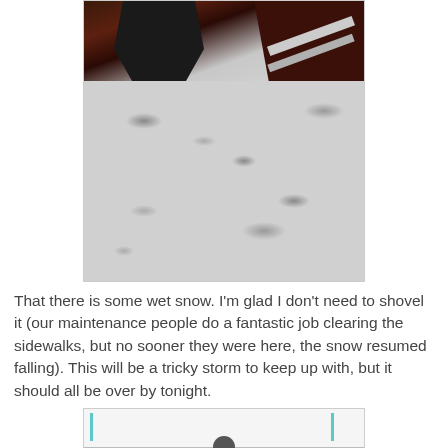[Figure (photo): Close-up photo of wet snow on the ground with a dark glove and dark red/maroon jacket visible at the top of the frame. The snow appears heavy and wet, with rocky ground visible underneath.]
That there is some wet snow. I'm glad I don't need to shovel it (our maintenance people do a fantastic job clearing the sidewalks, but no sooner they were here, the snow resumed falling). This will be a tricky storm to keep up with, but it should all be over by tonight.
[Figure (photo): Partial photo showing what appears to be a person standing outside near a building wall, with a light-colored background. The top portion shows a frame with cyan/teal vertical bars.]